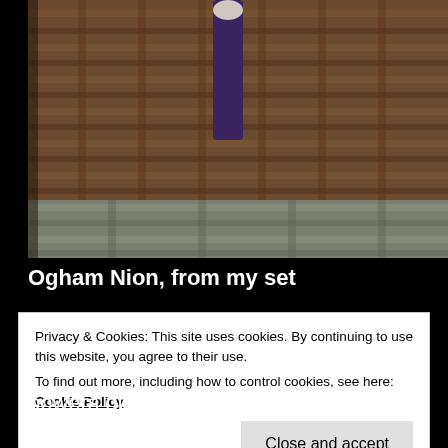[Figure (photo): Close-up photo of a wicker basket weave texture in brown tones, with a dark cylindrical object (possibly a wooden stick or rune) placed vertically on top of the wicker surface.]
Ogham Nion, from my set
Privacy & Cookies: This site uses cookies. By continuing to use this website, you agree to their use.
To find out more, including how to control cookies, see here: Cookie Policy
powers of protection, health, courage, and of